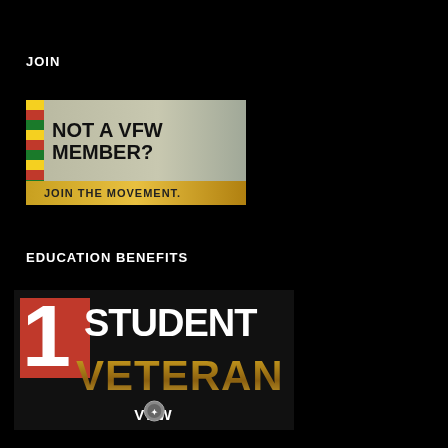JOIN
[Figure (illustration): VFW membership recruitment banner showing 'NOT A VFW MEMBER? JOIN THE MOVEMENT.' with Vietnamese flag stripe on left side and gold banner at bottom]
EDUCATION BENEFITS
[Figure (illustration): 1 Student Veteran VFW logo banner with red '1' block, white 'STUDENT' text, gold 'VETERAN' text, and VFW emblem]